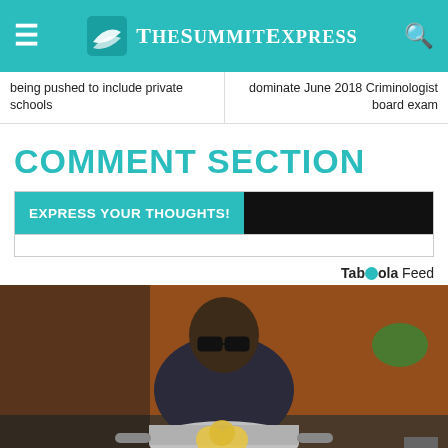TheSummitExpress
being pushed to include private schools
dominate June 2018 Criminologist board exam
COMMENT SECTION
EXPRESS YOUR THOUGHTS!
Taboola Feed
[Figure (photo): Man with glasses holding a pot with lemon slices, standing in a kitchen with brick wall background.]